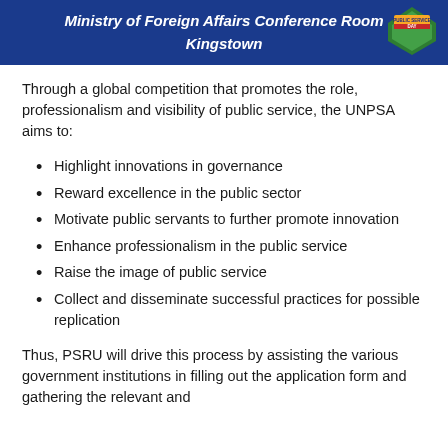Ministry of Foreign Affairs Conference Room
Kingstown
Through a global competition that promotes the role, professionalism and visibility of public service, the UNPSA aims to:
Highlight innovations in governance
Reward excellence in the public sector
Motivate public servants to further promote innovation
Enhance professionalism in the public service
Raise the image of public service
Collect and disseminate successful practices for possible replication
Thus, PSRU will drive this process by assisting the various government institutions in filling out the application form and gathering the relevant and